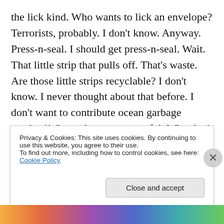the lick kind. Who wants to lick an envelope? Terrorists, probably. I don't know. Anyway. Press-n-seal. I should get press-n-seal. Wait. That little strip that pulls off. That's waste. Are those little strips recyclable? I don't know. I never thought about that before. I don't want to contribute ocean garbage patches!! Omg, those are so awful. Why don't people care about anything?? WE ARE BREAKING THE OCEAN. 😐
But I really don't want to lick an envelope.
(partial/obscured line)
Privacy & Cookies: This site uses cookies. By continuing to use this website, you agree to their use. To find out more, including how to control cookies, see here: Cookie Policy
Close and accept